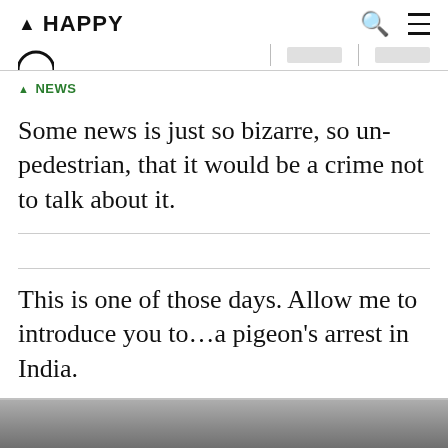▲ HAPPY
▲ NEWS
Some news is just so bizarre, so un-pedestrian, that it would be a crime not to talk about it.
This is one of those days. Allow me to introduce you to…a pigeon's arrest in India.
[Figure (photo): Bottom strip showing the top edge of a photograph, partially visible at the bottom of the page.]